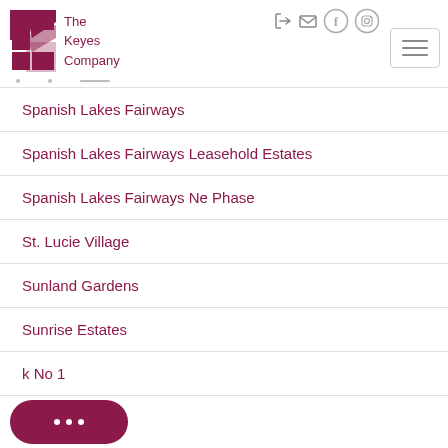[Figure (logo): The Keyes Company logo with stylized K in dark red/maroon]
Spanish Lakes Fairways
Spanish Lakes Fairways Leasehold Estates
Spanish Lakes Fairways Ne Phase
St. Lucie Village
Sunland Gardens
Sunrise Estates
k No 1